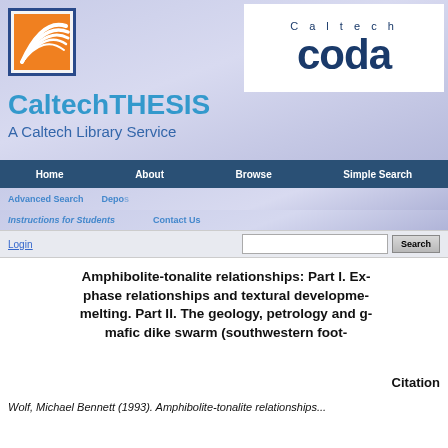[Figure (logo): CaltechTHESIS / Caltech CODA header banner with Caltech logo and navigation]
Amphibolite-tonalite relationships: Part I. Ex- phase relationships and textural developme- melting. Part II. The geology, petrology and g- mafic dike swarm (southwestern foot-
Citation
Wolf, Michael Bennett (1993). Amphibolite-tonalite relationships...